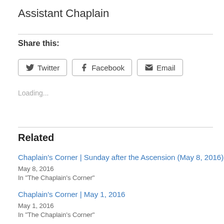Assistant Chaplain
Share this:
[Figure (other): Social sharing buttons: Twitter, Facebook, Email]
Loading...
Related
Chaplain's Corner | Sunday after the Ascension (May 8, 2016)
May 8, 2016
In "The Chaplain's Corner"
Chaplain's Corner | May 1, 2016
May 1, 2016
In "The Chaplain's Corner"